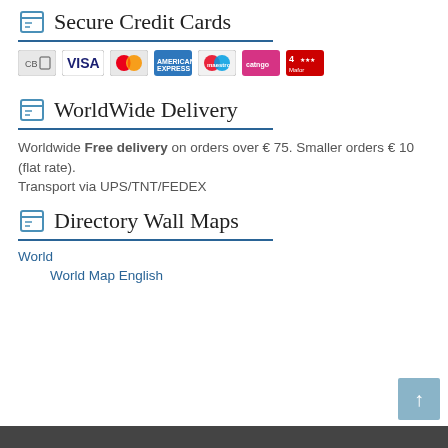Secure Credit Cards
[Figure (logo): Payment card logos: CB, VISA, MasterCard, American Express, Maestro, Catngo, 4-Star]
WorldWide Delivery
Worldwide Free delivery on orders over € 75. Smaller orders € 10 (flat rate).
Transport via UPS/TNT/FEDEX
Directory Wall Maps
World
World Map English